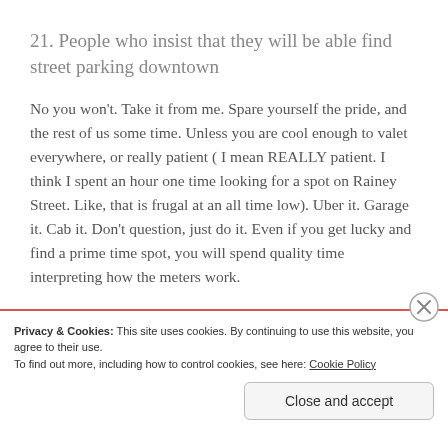21. People who insist that they will be able find street parking downtown
No you won't. Take it from me. Spare yourself the pride, and the rest of us some time. Unless you are cool enough to valet everywhere, or really patient ( I mean REALLY patient. I think I spent an hour one time looking for a spot on Rainey Street. Like, that is frugal at an all time low). Uber it. Garage it. Cab it. Don't question, just do it. Even if you get lucky and find a prime time spot, you will spend quality time interpreting how the meters work.
Privacy & Cookies: This site uses cookies. By continuing to use this website, you agree to their use.
To find out more, including how to control cookies, see here: Cookie Policy
Close and accept